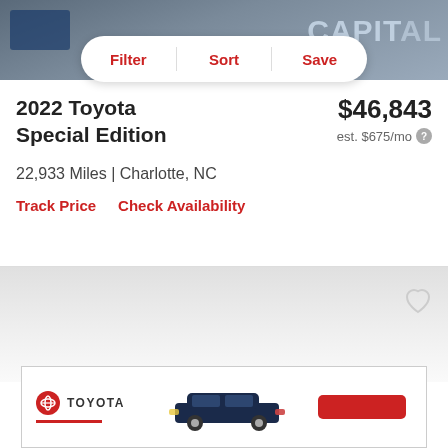[Figure (photo): Top portion of a car listing with blurred vehicle photo showing 'CAPITAL' text in the background]
Filter | Sort | Save
2022 Toyota [model] Special Edition
$46,843
est. $675/mo
22,933 Miles | Charlotte, NC
Track Price   Check Availability
[Figure (photo): Second car listing card with gradient background and heart/save icon]
[Figure (illustration): Toyota advertisement banner with Toyota logo, dark blue SUV image, and red CTA button]